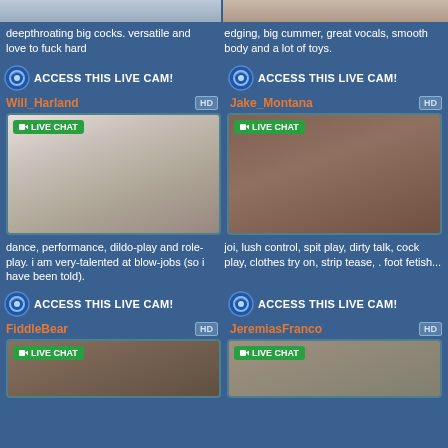[Figure (photo): Two partial photos at top of page, cropped]
deepthroating big cocks. versatile and love to fuck hard
edging, big cummer, great vocals, smooth body and a lot of toys.
ACCESS THIS LIVE CAM!
ACCESS THIS LIVE CAM!
Will_Harland
Jake_Montana
[Figure (photo): Will_Harland live cam photo showing shirtless person]
[Figure (photo): Jake_Montana live cam photo showing bearded man with phone]
dance, performance, dildo-play and role-play. i am very-talented at blow-jobs (so i have been told).
joi, lush control, spit play, dirty talk, cock play, clothes try on, strip tease, . foot fetish...
ACCESS THIS LIVE CAM!
ACCESS THIS LIVE CAM!
FiddleBear
JeremiasFranco
[Figure (photo): FiddleBear live cam preview photo]
[Figure (photo): JeremiasFranco live cam preview photo]